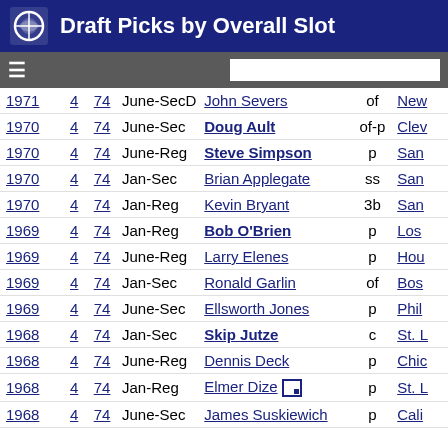Draft Picks by Overall Slot
| Year | Rd | Ovr | Type | Name | Pos | Team |
| --- | --- | --- | --- | --- | --- | --- |
| 1971 | 4 | 74 | June-SecD | John Severs | of | New... |
| 1970 | 4 | 74 | June-Sec | Doug Ault | of-p | Clev... |
| 1970 | 4 | 74 | June-Reg | Steve Simpson | p | San... |
| 1970 | 4 | 74 | Jan-Sec | Brian Applegate | ss | San... |
| 1970 | 4 | 74 | Jan-Reg | Kevin Bryant | 3b | San... |
| 1969 | 4 | 74 | Jan-Reg | Bob O'Brien | p | Los... |
| 1969 | 4 | 74 | June-Reg | Larry Elenes | p | Hou... |
| 1969 | 4 | 74 | Jan-Sec | Ronald Garlin | of | Bos... |
| 1969 | 4 | 74 | June-Sec | Ellsworth Jones | p | Phil... |
| 1968 | 4 | 74 | Jan-Sec | Skip Jutze | c | St. L... |
| 1968 | 4 | 74 | June-Reg | Dennis Deck | p | Chic... |
| 1968 | 4 | 74 | Jan-Reg | Elmer Dize | p | St. L... |
| 1968 | 4 | 74 | June-Sec | James Suskiewich | p | Cali... |